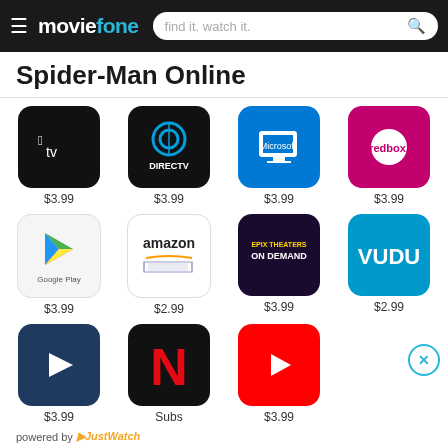moviefone — find it. watch it.
Spider-Man Online
[Figure (screenshot): Streaming service logos grid: Apple TV ($3.99), DIRECTV ($3.99), Microsoft ($3.99), Redbox ($3.99), Google Play ($3.99), Amazon ($2.99), Epix Theaters On Demand ($3.99), Vudu ($2.99), generic play service ($3.99), Netflix (Subs), YouTube ($3.99)]
powered by JustWatch
Trending Movie Trailers